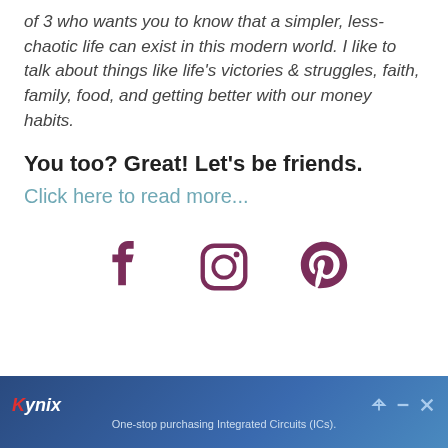of 3 who wants you to know that a simpler, less-chaotic life can exist in this modern world. I like to talk about things like life's victories & struggles, faith, family, food, and getting better with our money habits.
You too? Great! Let's be friends.
Click here to read more...
[Figure (other): Social media icons: Facebook, Instagram, Pinterest in dark maroon/purple color]
[Figure (other): Kynix advertisement banner: One-stop purchasing Integrated Circuits (ICs).]